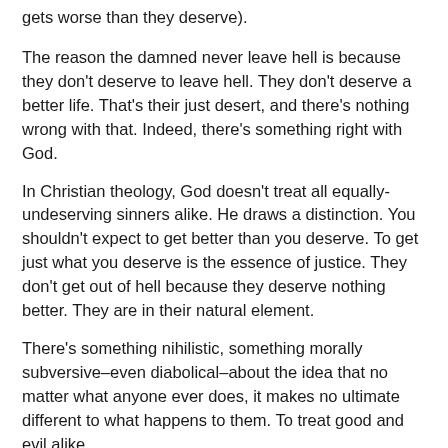gets worse than they deserve).
The reason the damned never leave hell is because they don't deserve to leave hell. They don't deserve a better life. That's their just desert, and there's nothing wrong with that. Indeed, there's something right with God.
In Christian theology, God doesn't treat all equally-undeserving sinners alike. He draws a distinction. You shouldn't expect to get better than you deserve. To get just what you deserve is the essence of justice. They don't get out of hell because they deserve nothing better. They are in their natural element.
There's something nihilistic, something morally subversive–even diabolical–about the idea that no matter what anyone ever does, it makes no ultimate different to what happens to them. To treat good and evil alike.
5. Suppose (ex hypothesi) that human agents start out as a clean slate. By that I mean, suppose that initially they have no rap sheep. Their moral record is spotless.